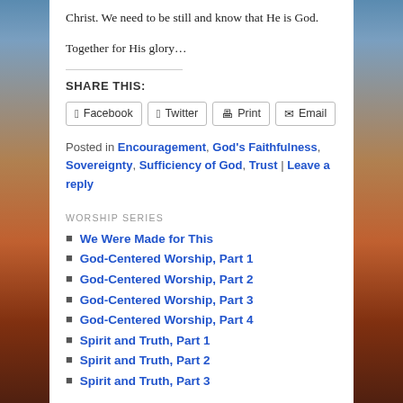Christ. We need to be still and know that He is God.
Together for His glory…
SHARE THIS:
Facebook | Twitter | Print | Email
Posted in Encouragement, God's Faithfulness, Sovereignty, Sufficiency of God, Trust | Leave a reply
WORSHIP SERIES
We Were Made for This
God-Centered Worship, Part 1
God-Centered Worship, Part 2
God-Centered Worship, Part 3
God-Centered Worship, Part 4
Spirit and Truth, Part 1
Spirit and Truth, Part 2
Spirit and Truth, Part 3